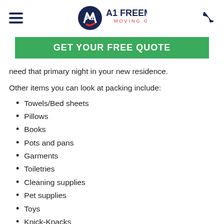A1 Freeman Moving Group
[Figure (logo): A1 Freeman Moving Group logo with hamburger menu and phone icon]
GET YOUR FREE QUOTE
need that primary night in your new residence.
Other items you can look at packing include:
Towels/Bed sheets
Pillows
Books
Pots and pans
Garments
Toiletries
Cleaning supplies
Pet supplies
Toys
Knick-Knacks